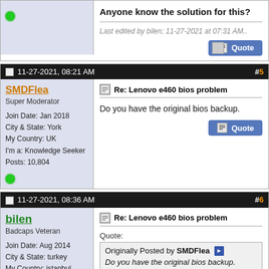Anyone know the solution for this?
Last edited by bilen; 11-27-2021 at 07:31 AM..
11-27-2021, 08:21 AM  #5
SMDFlea
Super Moderator
Join Date: Jan 2018
City & State: York
My Country: UK
I'm a: Knowledge Seeker
Posts: 10,804
Re: Lenovo e460 bios problem
Do you have the original bios backup.
11-27-2021, 08:36 AM  #6
bilen
Badcaps Veteran
Join Date: Aug 2014
City & State: turkey
My Country: istanbul
I'm a: Knowledge Seeker
Posts: 379
Re: Lenovo e460 bios problem
Quote:
Originally Posted by SMDFlea
Do you have the original bios backup.